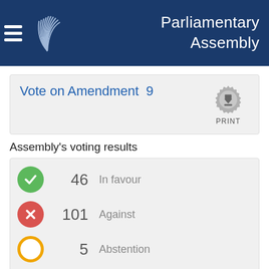Parliamentary Assembly
Vote on Amendment  9
Assembly's voting results
| Icon | Count | Description |
| --- | --- | --- |
| ✓ | 46 | In favour |
| ✗ | 101 | Against |
| ○ | 5 | Abstention |
All participants in the vote
Order by: Member | Country | Political group | Voting choice
Mr Ruben RUBINYAN   AM   NR